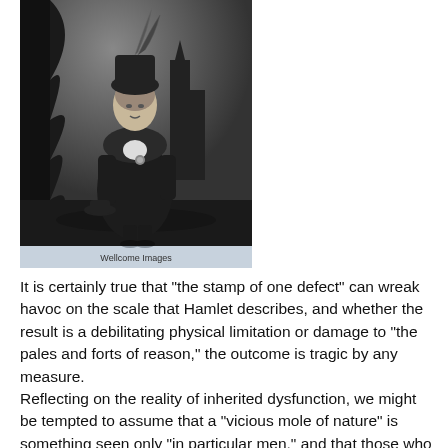[Figure (photo): A black and white engraving of a man in historical costume with a feathered hat, fur-lined cloak, and holding a hat, standing in front of a gothic building background. Watermark reads 'Wellcome Images'.]
It is certainly true that "the stamp of one defect" can wreak havoc on the scale that Hamlet describes, and whether the result is a debilitating physical limitation or damage to "the pales and forts of reason," the outcome is tragic by any measure.
Reflecting on the reality of inherited dysfunction, we might be tempted to assume that a "vicious mole of nature" is something seen only "in particular men," and that those who